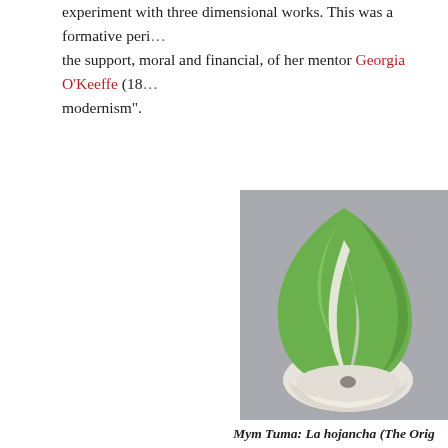experiment with three dimensional works. This was a formative period... the support, moral and financial, of her mentor Georgia O'Keeffe (18... modernism".
[Figure (photo): Sculpture by Mym Tuma titled La hojancha (The Orig...) from 1970. A green and white ceramic or glazed sculpture in an organic leaf/seed shape with a curved white base.]
Mym Tuma: La hojancha (The Orig... (1970)